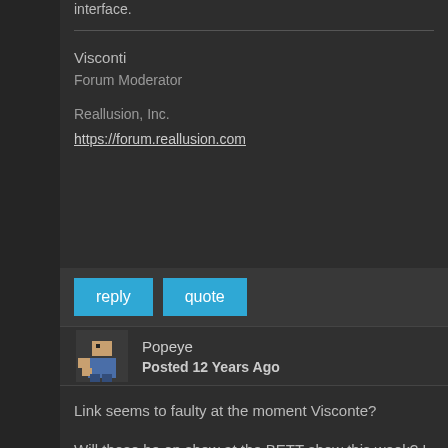interface.
Visconti
Forum Moderator

Reallusion, Inc.
https://forum.reallusion.com
reply
quote
Popeye
Posted 12 Years Ago
Link seems to faulty at the moment Visconte?
Will these be on show at the BETT show this week? I am very in